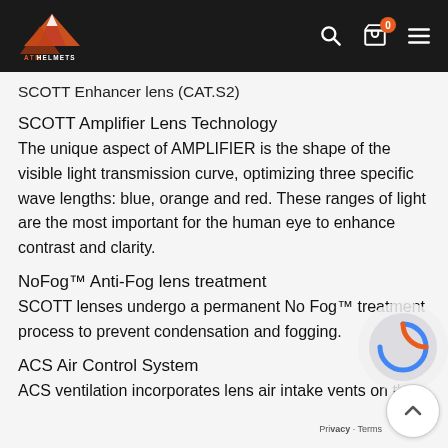[Figure (logo): ATM Helmets logo with mountain graphic on dark header bar with search, cart (0 items), and menu icons]
SCOTT Enhancer lens (CAT.S2)
SCOTT Amplifier Lens Technology
The unique aspect of AMPLIFIER is the shape of the visible light transmission curve, optimizing three specific wave lengths: blue, orange and red. These ranges of light are the most important for the human eye to enhance contrast and clarity.
NoFog™ Anti-Fog lens treatment
SCOTT lenses undergo a permanent No Fog™ treatment process to prevent condensation and fogging.
ACS Air Control System
ACS ventilation incorporates lens air intake vents on the